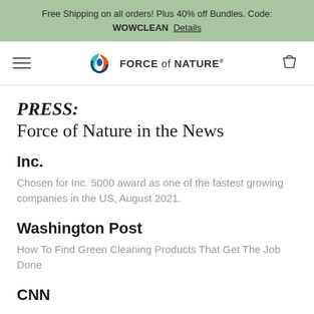Free Shipping on all orders! Plus 40% off Bundles. Code: WOWCLEAN  Details
[Figure (logo): Force of Nature logo with navigation bar including hamburger menu, logo with circular blue/teal/orange droplet icon and text 'FORCE of NATURE', and shopping bag icon]
PRESS:
Force of Nature in the News
Inc.
Chosen for Inc. 5000 award as one of the fastest growing companies in the US, August 2021.
Washington Post
How To Find Green Cleaning Products That Get The Job Done
CNN